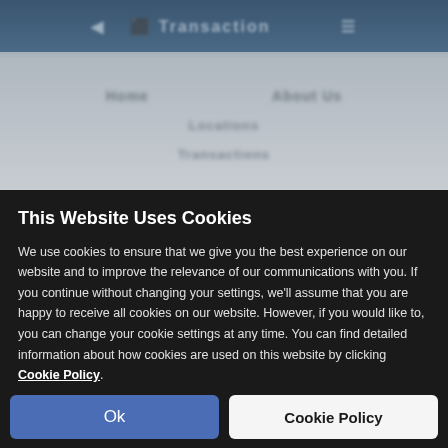[Figure (screenshot): Blurred website background showing a navigation header with blue top bar and grey content area with blurred nav items and text]
This Website Uses Cookies
We use cookies to ensure that we give you the best experience on our website and to improve the relevance of our communications with you. If you continue without changing your settings, we'll assume that you are happy to receive all cookies on our website. However, if you would like to, you can change your cookie settings at any time. You can find detailed information about how cookies are used on this website by clicking Cookie Policy.
Ok
Cookie Policy